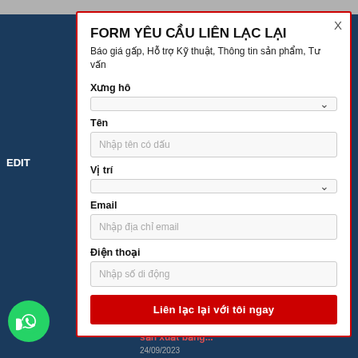FORM YÊU CẦU LIÊN LẠC LẠI
Báo giá gấp, Hỗ trợ Kỹ thuật, Thông tin sản phẩm, Tư vấn
Xưng hô
Tên
Nhập tên có dấu
Vị trí
Email
Nhập địa chỉ email
Điện thoại
Nhập số di động
Liên lạc lại với tôi ngay
Khoản đường ống mà không ảnh hưởng đến sản xuất bảng...